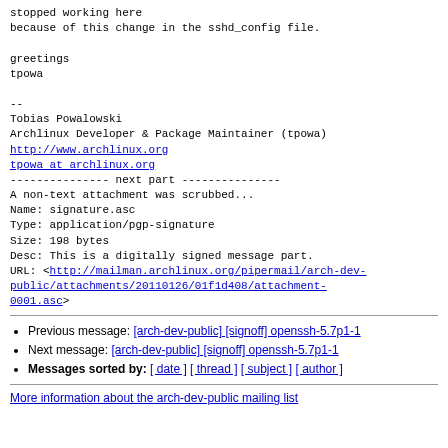stopped working here
because of this change in the sshd_config file.

greetings
tpowa

--
Tobias Powalowski
Archlinux Developer & Package Maintainer (tpowa)
http://www.archlinux.org
tpowa at archlinux.org
--------------- next part ---------------
A non-text attachment was scrubbed...
Name: signature.asc
Type: application/pgp-signature
Size: 198 bytes
Desc: This is a digitally signed message part.
URL: <http://mailman.archlinux.org/pipermail/arch-dev-public/attachments/20110126/01f1d408/attachment-0001.asc>
Previous message: [arch-dev-public] [signoff] openssh-5.7p1-1
Next message: [arch-dev-public] [signoff] openssh-5.7p1-1
Messages sorted by: [ date ] [ thread ] [ subject ] [ author ]
More information about the arch-dev-public mailing list